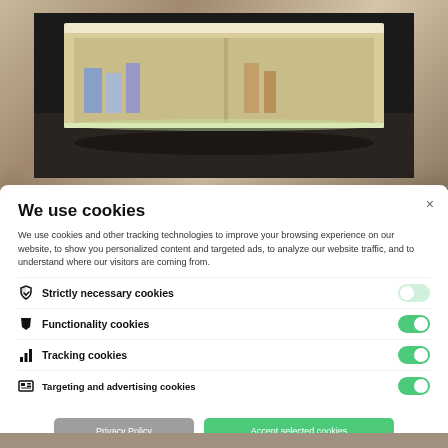[Figure (photo): Background photo of a modern floating shelf/cabinet unit with wood finish and lit interior, dark background]
We use cookies
We use cookies and other tracking technologies to improve your browsing experience on our website, to show you personalized content and targeted ads, to analyze our website traffic, and to understand where our visitors are coming from.
Strictly necessary cookies — toggle off (light green)
Functionality cookies — toggle on (green)
Tracking cookies — toggle on (green)
Targeting and advertising cookies — toggle on (green)
Privacy Policy
Accept selected cookies